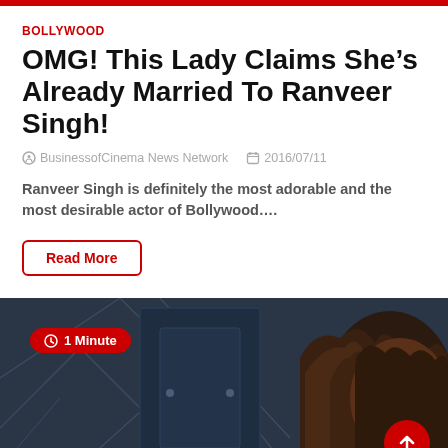BOLLYWOOD
OMG! This Lady Claims She's Already Married To Ranveer Singh!
BusinessofCinema News Network   2016/07/11
Ranveer Singh is definitely the most adorable and the most desirable actor of Bollywood....
Read More
[Figure (photo): Photo of a person with curly dark hair seen from behind, against a dark blue geometric background. Red badge reading '1 Minute' in top left and red circular up-arrow button in bottom right.]